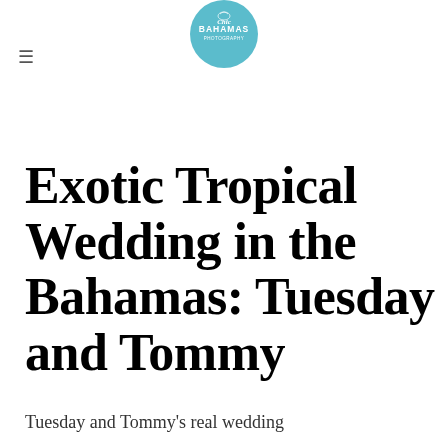[Figure (logo): Chic Bahamas Photography circular teal logo with white text and bird/floral design]
≡
Exotic Tropical Wedding in the Bahamas: Tuesday and Tommy
Tuesday and Tommy's real wedding